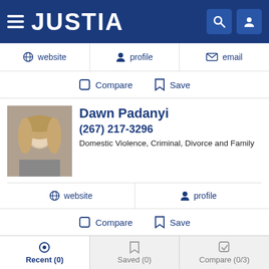JUSTIA
website | profile | email
Compare | Save
Dawn Padanyi
(267) 217-3296
Domestic Violence, Criminal, Divorce and Family
website | profile
Compare | Save
Jonathon Luff
(610) 643-4644 Free Consultation
Recent (0) | Saved (0) | Compare (0/3)